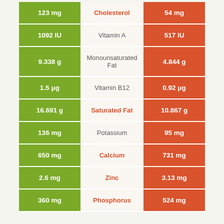| Left Value | Nutrient | Right Value |
| --- | --- | --- |
| 123 mg | Cholesterol | 54 mg |
| 1092 IU | Vitamin A | 517 IU |
| 9.338 g | Monounsaturated Fat | 4.844 g |
| 1.5 μg | Vitamin B12 | 0.92 μg |
| 16.691 g | Saturated Fat | 10.867 g |
| 136 mg | Potassium | 95 mg |
| 650 mg | Calcium | 731 mg |
| 2.6 mg | Zinc | 3.13 mg |
| 360 mg | Phosphorus | 524 mg |